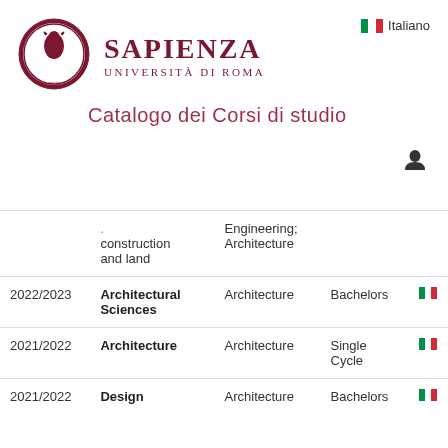[Figure (logo): Sapienza Università di Roma circular emblem with minerva/eagle motif, dark red border]
SAPIENZA
UNIVERSITÀ DI ROMA
Italiano
Catalogo dei Corsi di studio
|  | construction and land | Engineering; Architecture |  |
| --- | --- | --- | --- |
| 2022/2023 | Architectural Sciences | Architecture | Bachelors |
| 2021/2022 | Architecture | Architecture | Single Cycle |
| 2021/2022 | Design | Architecture | Bachelors |